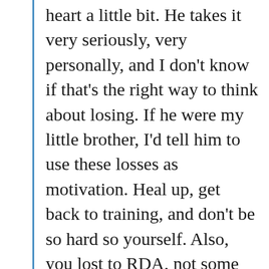heart a little bit. He takes it very seriously, very personally, and I don't know if that's the right way to think about losing. If he were my little brother, I'd tell him to use these losses as motivation. Heal up, get back to training, and don't be so hard so yourself. Also, you lost to RDA, not some scrub, and he was a lot stronger than you tonight, bro.
But he's not my little brother and here's the deal: He's having a hard time making 155 and always talking